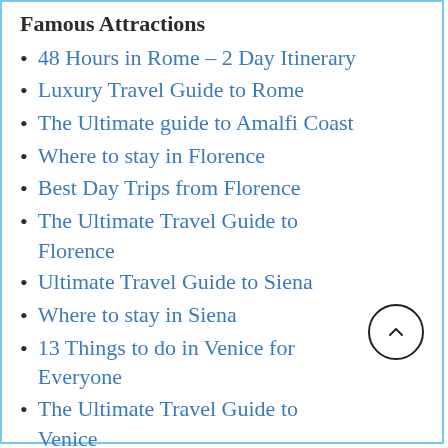Famous Attractions
48 Hours in Rome – 2 Day Itinerary
Luxury Travel Guide to Rome
The Ultimate guide to Amalfi Coast
Where to stay in Florence
Best Day Trips from Florence
The Ultimate Travel Guide to Florence
Ultimate Travel Guide to Siena
Where to stay in Siena
13 Things to do in Venice for Everyone
The Ultimate Travel Guide to Venice